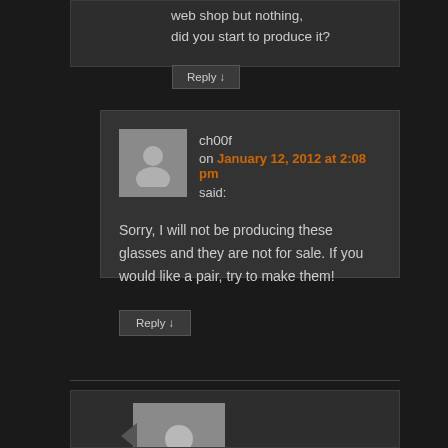web shop but nothing, did you start to produce it?
Reply ↓
ch00f on January 12, 2012 at 2:08 pm said:
Sorry, I will not be producing these glasses and they are not for sale. If you would like a pair, try to make them!
Reply ↓
[Figure (photo): User avatar placeholder - person silhouette on gray background]